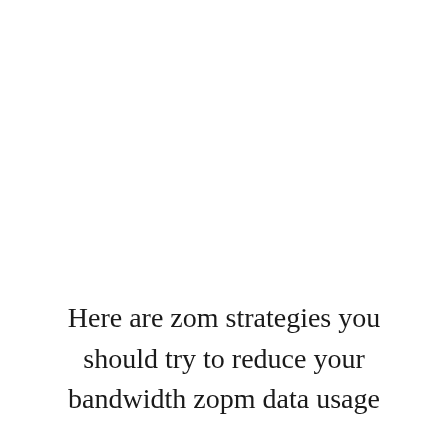Here are zom strategies you should try to reduce your bandwidth zopm data usage